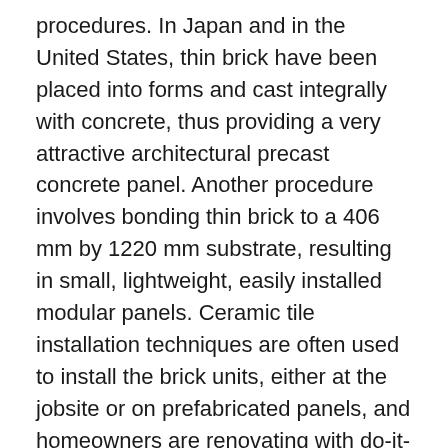procedures. In Japan and in the United States, thin brick have been placed into forms and cast integrally with concrete, thus providing a very attractive architectural precast concrete panel. Another procedure involves bonding thin brick to a 406 mm by 1220 mm substrate, resulting in small, lightweight, easily installed modular panels. Ceramic tile installation techniques are often used to install the brick units, either at the jobsite or on prefabricated panels, and homeowners are renovating with do-it-yourself thin brick products.
Why Thin Brick?
In the past the home owner had very few choices when viewing a potential facelift of the family home. The most sought after, and the most expensive, option was a full-brick veneer, giving the outside of the house the look of a full double-brick residence. This option was expensive, time consuming and messy. House plans had to be drawn and submitted